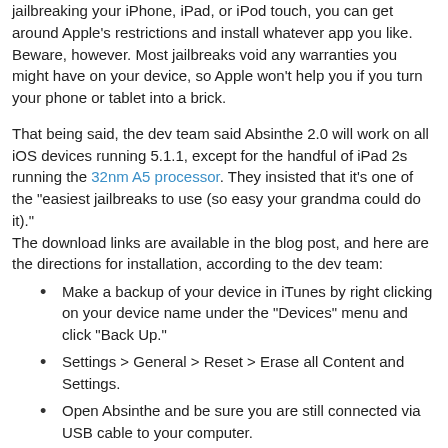jailbreaking your iPhone, iPad, or iPod touch, you can get around Apple's restrictions and install whatever app you like. Beware, however. Most jailbreaks void any warranties you might have on your device, so Apple won't help you if you turn your phone or tablet into a brick.
That being said, the dev team said Absinthe 2.0 will work on all iOS devices running 5.1.1, except for the handful of iPad 2s running the 32nm A5 processor. They insisted that it's one of the "easiest jailbreaks to use (so easy your grandma could do it)."
The download links are available in the blog post, and here are the directions for installation, according to the dev team:
Make a backup of your device in iTunes by right clicking on your device name under the "Devices" menu and click "Back Up."
Settings > General > Reset > Erase all Content and Settings.
Open Absinthe and be sure you are still connected via USB cable to your computer.
Click "Jailbreak" and wait.